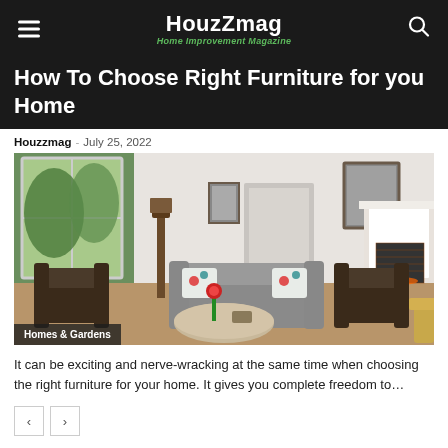HouzZmag - Home Improvement Magazine
How To Choose Right Furniture for you Home
Houzzmag - July 25, 2022
[Figure (photo): Living room interior with leather chairs, a grey sofa with colorful pillows, a fireplace, large windows, and framed art on white walls. A tag reads 'Homes & Gardens'.]
It can be exciting and nerve-wracking at the same time when choosing the right furniture for your home. It gives you complete freedom to...